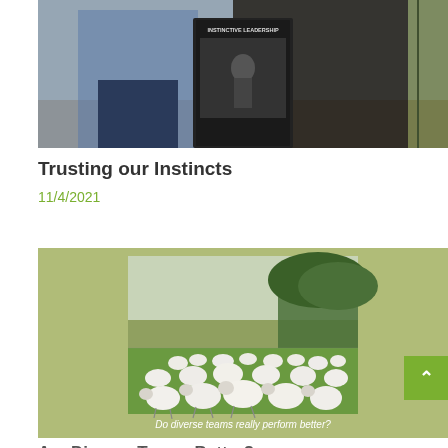[Figure (photo): Person in blue floral shirt holding a book titled 'Instinctive Leadership' next to a dark horse, standing on dirt ground near a fence with greenery.]
Trusting our Instincts
11/4/2021
[Figure (photo): A flock of sheep grazing on a green field with trees in the background, on an olive/sage green card background. Caption reads: 'Do diverse teams really perform better?']
Do diverse teams really perform better?
Are Diverse Teams Better?